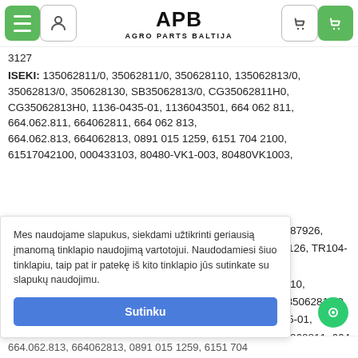APB AGRO PARTS BALTIJA
3127
ISEKI: 135062811/0, 35062811/0, 350628110, 135062813/0, 35062813/0, 350628130, SB35062813/0, CG35062811H0, CG35062813H0, 1136-0435-01, 1136043501, 664 062 811, 664.062.811, 664062811, 664 062 813, 664.062.813, 664062813, 0891 015 1259, 6151 704 2100, 61517042100, 000433103, 80480-VK1-003, 80480VK1003,
134, 687926,
104-3126, TR104-

0628110,
0, SB35062813/0,
6-0435-01,
1, 664062811, 664
Mes naudojame slapukus, siekdami užtikrinti geriausią įmanomą tinklapio naudojimą vartotojui. Naudodamiesi šiuo tinklapiu, taip pat ir patekę iš kito tinklapio jūs sutinkate su slapukų naudojimu.
Sutinku
664.062.813, 664062813, 0891 015 1259, 6151 704